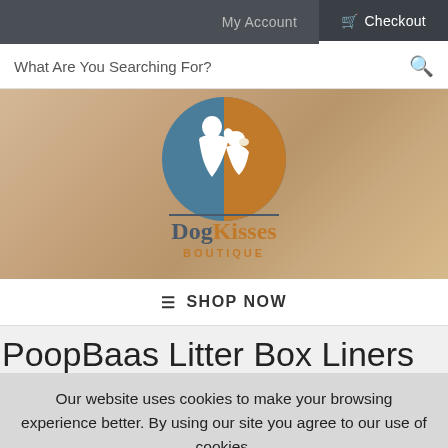My Account | Checkout
What Are You Searching For?
[Figure (logo): DogKisses Boutique logo — circular emblem with a dog and person silhouette in dark blue and orange, with text 'DogKisses BOUTIQUE' below]
≡ SHOP NOW
PoopBaas Litter Box Liners
Our website uses cookies to make your browsing experience better. By using our site you agree to our use of cookies. Learn More
I Agree